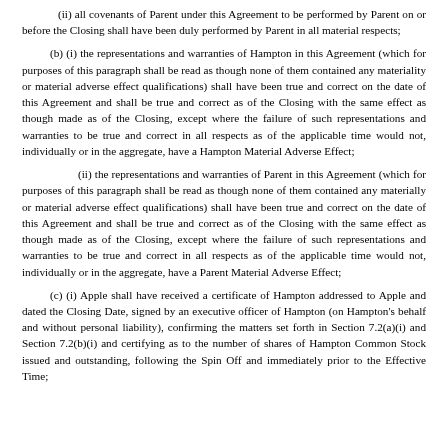(ii) all covenants of Parent under this Agreement to be performed by Parent on or before the Closing shall have been duly performed by Parent in all material respects;
(b) (i) the representations and warranties of Hampton in this Agreement (which for purposes of this paragraph shall be read as though none of them contained any materiality or material adverse effect qualifications) shall have been true and correct on the date of this Agreement and shall be true and correct as of the Closing with the same effect as though made as of the Closing, except where the failure of such representations and warranties to be true and correct in all respects as of the applicable time would not, individually or in the aggregate, have a Hampton Material Adverse Effect;
(ii) the representations and warranties of Parent in this Agreement (which for purposes of this paragraph shall be read as though none of them contained any materially or material adverse effect qualifications) shall have been true and correct on the date of this Agreement and shall be true and correct as of the Closing with the same effect as though made as of the Closing, except where the failure of such representations and warranties to be true and correct in all respects as of the applicable time would not, individually or in the aggregate, have a Parent Material Adverse Effect;
(c) (i) Apple shall have received a certificate of Hampton addressed to Apple and dated the Closing Date, signed by an executive officer of Hampton (on Hampton's behalf and without personal liability), confirming the matters set forth in Section 7.2(a)(i) and Section 7.2(b)(i) and certifying as to the number of shares of Hampton Common Stock issued and outstanding, following the Spin Off and immediately prior to the Effective Time;